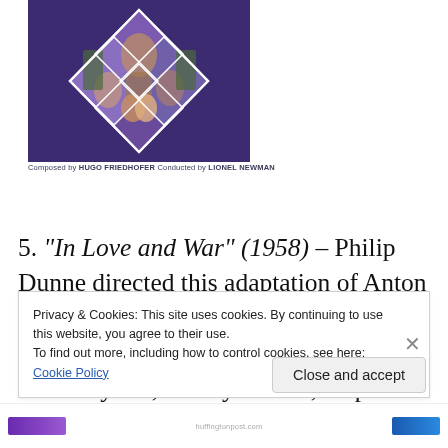[Figure (photo): Album cover artwork for a film score, showing diamond-shaped collage of military and romantic scenes in purple/dark tones]
Composed by HUGO FRIEDHOFER Conducted by LIONEL NEWMAN
5. “In Love and War” (1958) – Philip Dunne directed this adaptation of Anton Meyer’s novel about three Marines on leave in San Francisco. Robert Wagner, Dana Wynter, Jeffrey Hunter, Hope Lange and Bradford Dillman co-
Privacy & Cookies: This site uses cookies. By continuing to use this website, you agree to their use.
To find out more, including how to control cookies, see here: Cookie Policy
Close and accept